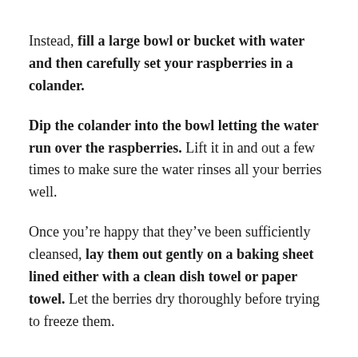Instead, fill a large bowl or bucket with water and then carefully set your raspberries in a colander.
Dip the colander into the bowl letting the water run over the raspberries. Lift it in and out a few times to make sure the water rinses all your berries well.
Once you're happy that they've been sufficiently cleansed, lay them out gently on a baking sheet lined either with a clean dish towel or paper towel. Let the berries dry thoroughly before trying to freeze them.